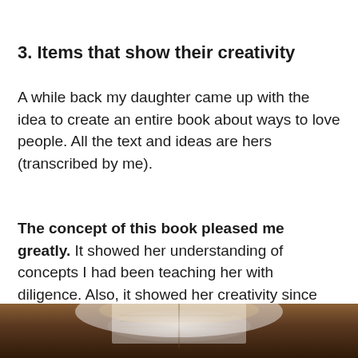3. Items that show their creativity
A while back my daughter came up with the idea to create an entire book about ways to love people. All the text and ideas are hers (transcribed by me).
The concept of this book pleased me greatly. It showed her understanding of concepts I had been teaching her with diligence. Also, it showed her creativity since the book was a completely original idea.
[Figure (photo): Partial view of an open book on a dark wooden surface with warm lighting from above]